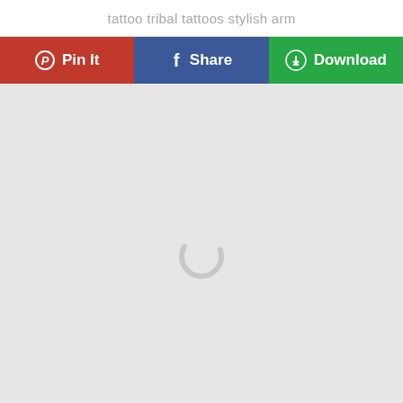tattoo tribal tattoos stylish arm
[Figure (screenshot): Three social sharing buttons: Pin It (red, Pinterest), Share (blue, Facebook), Download (green, with download icon)]
[Figure (photo): Light gray image placeholder with a loading spinner circle in the center, content not yet loaded]